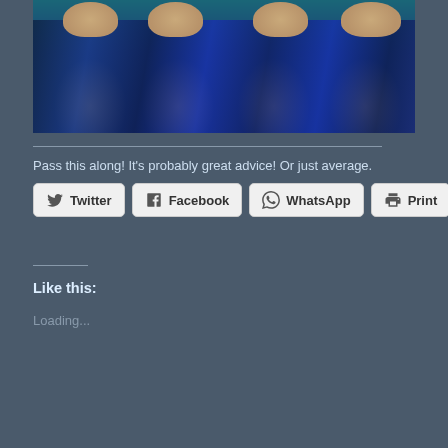[Figure (photo): Four people dressed in blue shiny puffer jackets with fur-trimmed collars, appearing to be in costumes, possibly Han Solo costumes from Star Wars, standing together outdoors in cold weather.]
Pass this along! It's probably great advice! Or just average.
[Figure (infographic): Row of social sharing buttons: Twitter, Facebook, WhatsApp, Print]
Like this:
Loading...